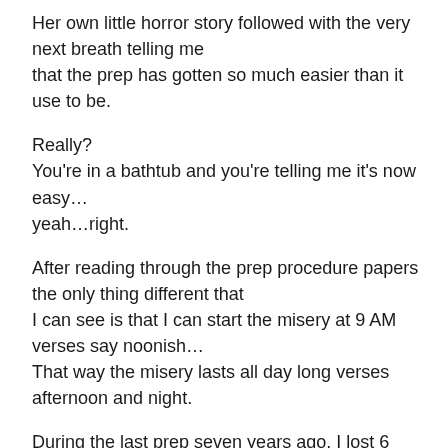Her own little horror story followed with the very next breath telling me that the prep has gotten so much easier than it use to be.
Really?
You're in a bathtub and you're telling me it's now easy… yeah…right.
After reading through the prep procedure papers the only thing different that I can see is that I can start the misery at 9 AM verses say noonish… That way the misery lasts all day long verses afternoon and night.
During the last prep seven years ago, I lost 6 pounds— which mind you is a great thing, but what I endured while losing 6 pounds left...